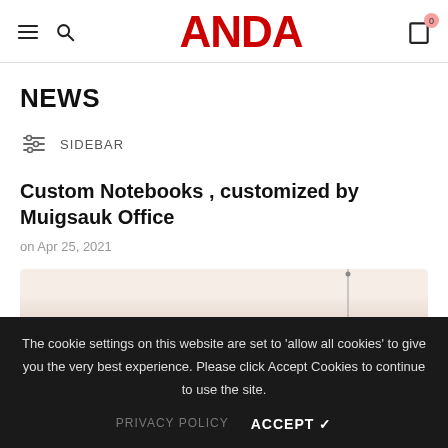ANDA
NEWS
SIDEBAR
Custom Notebooks , customized by Muigsauk Office
on Apr 25, 2021
[Figure (photo): Partial view of custom notebooks]
The cookie settings on this website are set to 'allow all cookies' to give you the very best experience. Please click Accept Cookies to continue to use the site.
PRIVACY POLICY   ACCEPT ✓